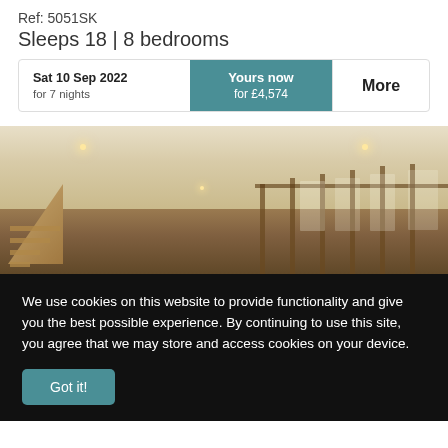Ref: 5051SK
Sleeps 18 | 8 bedrooms
| Sat 10 Sep 2022
for 7 nights | Yours now
for £4,574 | More |
[Figure (photo): Interior photo of a large open-plan room with high ceilings, recessed lighting, staircase on the left, and wooden beam structure visible in the background]
We use cookies on this website to provide functionality and give you the best possible experience. By continuing to use this site, you agree that we may store and access cookies on your device.
Got it!